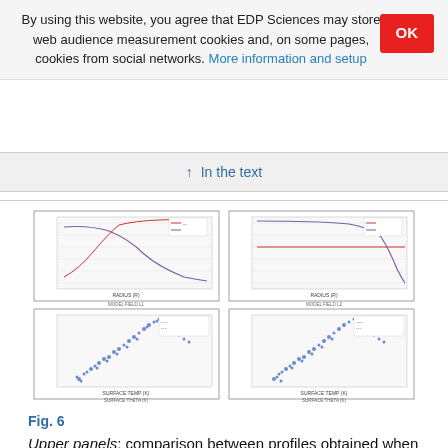By using this website, you agree that EDP Sciences may store web audience measurement cookies and, on some pages, cookies from social networks. More information and setup
↑ In the text
[Figure (continuous-plot): Four-panel scientific figure (Fig. 6). Upper two panels show line profiles (curves in red/blue/purple) vs a variable, with axes and labels. Lower two panels show scatter plots of data points (blue dots) with axes labeled, likely water line computation comparisons.]
Fig. 6
Upper panels: comparison between profiles obtained when the computation of the water line